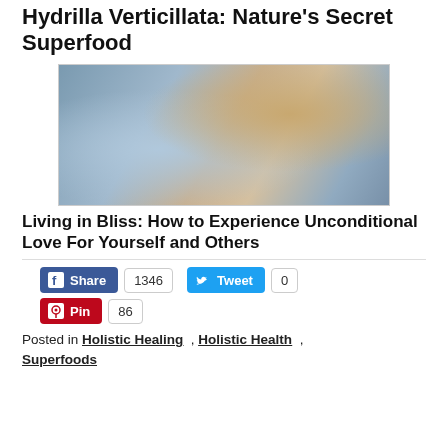Hydrilla Verticillata: Nature's Secret Superfood
[Figure (photo): Close-up photo of a blonde woman with glasses lying down, looking sideways at camera, wearing a blue/grey top]
Living in Bliss: How to Experience Unconditional Love For Yourself and Others
Share 1346   Tweet 0   Pin 86
Posted in Holistic Healing , Holistic Health , Superfoods